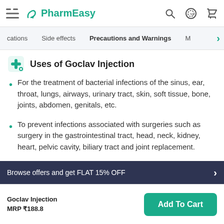PharmEasy
Side effects | Precautions and Warnings
Uses of Goclav Injection
For the treatment of bacterial infections of the sinus, ear, throat, lungs, airways, urinary tract, skin, soft tissue, bone, joints, abdomen, genitals, etc.
To prevent infections associated with surgeries such as surgery in the gastrointestinal tract, head, neck, kidney, heart, pelvic cavity, biliary tract and joint replacement.
Contraindications of Goclav Injection
Browse offers and get FLAT 15% OFF
Goclav Injection MRP ₹188.8  Add To Cart